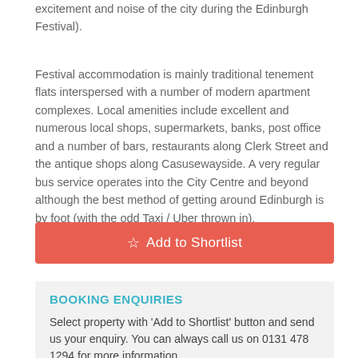excitement and noise of the city during the Edinburgh Festival).
Festival accommodation is mainly traditional tenement flats interspersed with a number of modern apartment complexes. Local amenities include excellent and numerous local shops, supermarkets, banks, post office and a number of bars, restaurants along Clerk Street and the antique shops along Casusewayside. A very regular bus service operates into the City Centre and beyond although the best method of getting around Edinburgh is by foot (with the odd Taxi / Uber thrown in).
☆ Add to Shortlist
BOOKING ENQUIRIES
Select property with 'Add to Shortlist' button and send us your enquiry. You can always call us on 0131 478 1294 for more information.